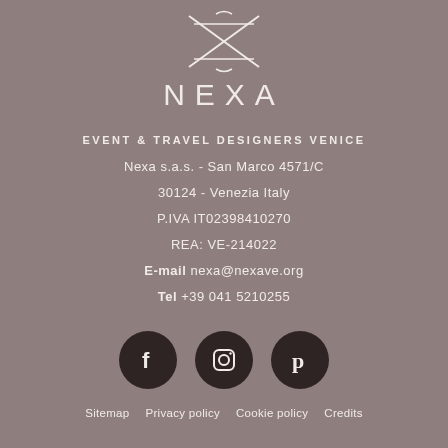[Figure (logo): NEXA logo with crossed scissors/X design above the text NEXA]
EVENT & TRAVEL DESIGNERS VENICE
Nexa s.a.s. - San Marco 4571/C
30124 - Venezia Italy
P.IVA IT02398410270
REA: VE-214022
E-mail nexa@nexave.org
Tel +39 041 5210255
[Figure (logo): Facebook icon circle]
[Figure (logo): Instagram icon circle]
[Figure (logo): Pinterest icon circle]
Sitemap   Privacy policy   Cookie policy   Credits